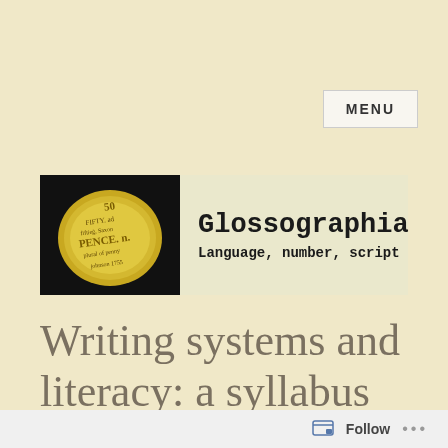MENU
[Figure (logo): Glossographia blog banner with a 50 pence coin image on the left and the text 'Glossographia - Language, number, script' on a cream background]
Writing systems and literacy: a syllabus
Follow ...